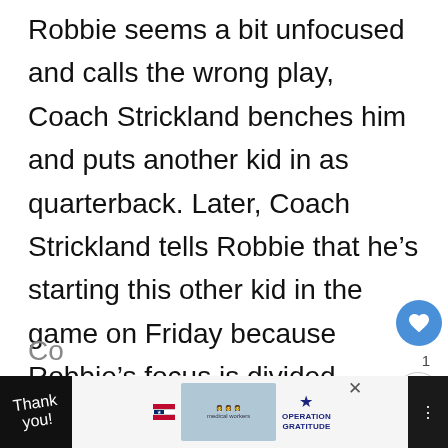Robbie seems a bit unfocused and calls the wrong play, Coach Strickland benches him and puts another kid in as quarterback. Later, Coach Strickland tells Robbie that he's starting this other kid in the game on Friday because Robbie's focus is divided between football and the show. Coach Strickland thinks the team deserves a quarterback who is completely focused on football. Robbie turns to Lou for advice on how to handle the situation, and Lou's sage wisdom is to call Co...
[Figure (other): Advertisement banner for Operation Gratitude featuring handwritten 'Thank you!' text with a pencil graphic, a photo of nurses/medical workers, a star graphic, and the Operation Gratitude logo]